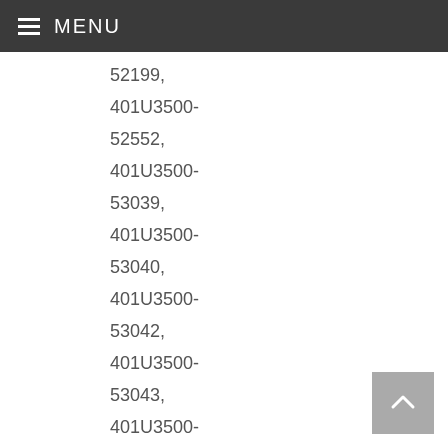MENU
52199,
401U3500-52552,
401U3500-53039,
401U3500-53040,
401U3500-53042,
401U3500-53043,
401U3500-531,
401U3500-5334,